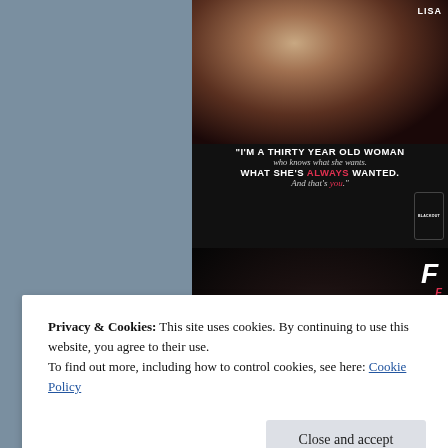[Figure (photo): Book promotional image showing a couple embracing with quote text: "I'M A THIRTY YEAR OLD WOMAN who knows what she wants. WHAT SHE'S ALWAYS WANTED. And that's you." with a phone mockup showing 'BLACKOUT' book cover. Author name LISA visible top right.]
[Figure (photo): Second book promotional image, dark background with large letter F visible and partial text 'I had never taste' at bottom.]
Privacy & Cookies: This site uses cookies. By continuing to use this website, you agree to their use.
To find out more, including how to control cookies, see here: Cookie Policy